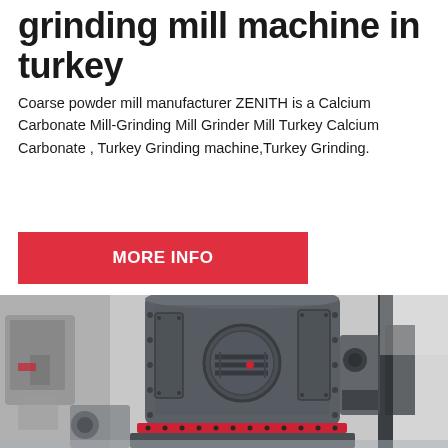grinding mill machine in turkey
Coarse powder mill manufacturer ZENITH is a Calcium Carbonate Mill-Grinding Mill Grinder Mill Turkey Calcium Carbonate , Turkey Grinding machine,Turkey Grinding.
[Figure (other): Red button/banner with bold white text reading MORE INFO]
[Figure (photo): Close-up photo of a large gray industrial grinding mill machine with bolted panels, a circular access door with grating, and a red accent ring at the base, photographed in a factory setting.]